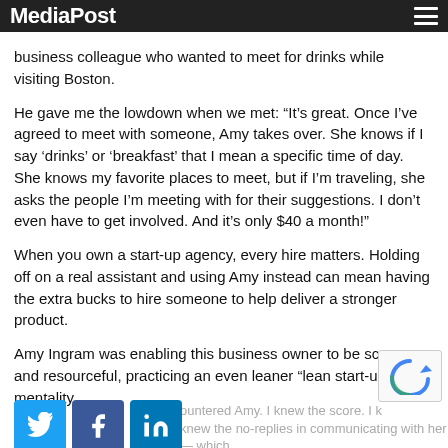MediaPost
business colleague who wanted to meet for drinks while visiting Boston.
He gave me the lowdown when we met: “It’s great. Once I’ve agreed to meet with someone, Amy takes over. She knows if I say ‘drinks’ or ‘breakfast’ that I mean a specific time of day. She knows my favorite places to meet, but if I’m traveling, she asks the people I’m meeting with for their suggestions. I don’t even have to get involved. And it’s only $40 a month!”
When you own a start-up agency, every hire matters. Holding off on a real assistant and using Amy instead can mean having the extra bucks to hire someone to help deliver a stronger product.
Amy Ingram was enabling this business owner to be scrappy and resourceful, practicing an even leaner “lean start-up” mentality.
[Figure (other): Social sharing icons: Twitter (blue bird), Facebook (blue f), LinkedIn (blue in)]
ountered Amy. I knew the score. I knew the no-replies in communicating with her — which